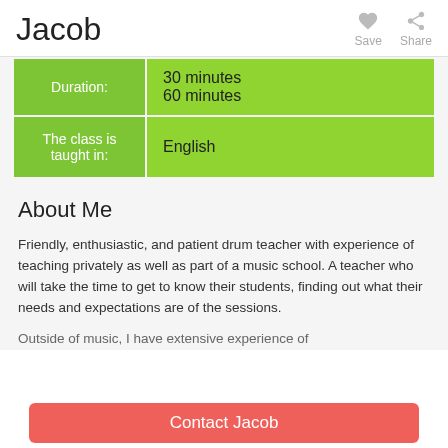Jacob
| Label | Value |
| --- | --- |
| Duration: | 30 minutes
60 minutes |
| The class is taught in: | English |
About Me
Friendly, enthusiastic, and patient drum teacher with experience of teaching privately as well as part of a music school. A teacher who will take the time to get to know their students, finding out what their needs and expectations are of the sessions.
Outside of music, I have extensive experience of
Contact Jacob